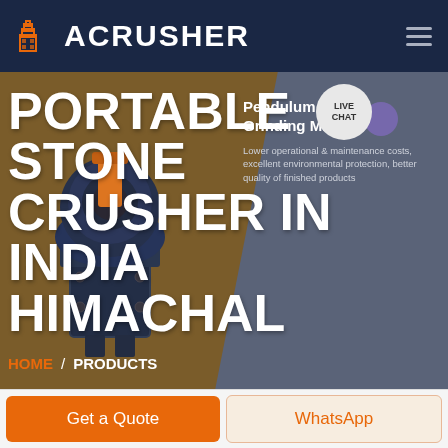ACRUSHER
[Figure (screenshot): Website screenshot of ACRUSHER industrial equipment company. Dark navy header with orange building logo and ACRUSHER text. Hero banner with brown and grey diagonal split, showing a stone crusher machine. Large white bold text reads PORTABLE STONE CRUSHER IN INDIA HIMACHAL. Right side shows Pendulum Roller Grinding Mill product card. Live Chat bubble top right. HOME / PRODUCTS breadcrumb. Bottom buttons: Get a Quote (orange) and WhatsApp (light orange).]
PORTABLE STONE CRUSHER IN INDIA HIMACHAL
Pendulum Roller Grinding Mill
Lower operational & maintenance costs, excellent environmental protection, better quality of finished products
HOME / PRODUCTS
Get a Quote
WhatsApp